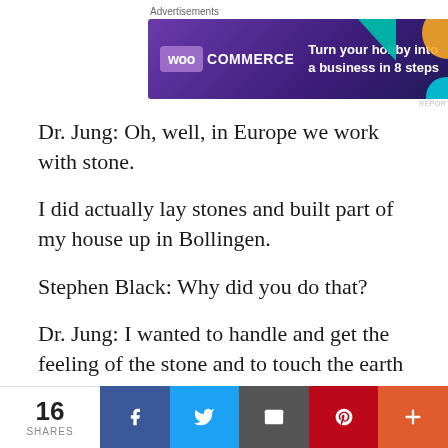[Figure (other): WooCommerce advertisement banner with purple background and text 'Turn your hobby into a business in 8 steps']
Dr. Jung: Oh, well, in Europe we work with stone.
I did actually lay stones and built part of my house up in Bollingen.
Stephen Black: Why did you do that?
Dr. Jung: I wanted to handle and get the feeling of the stone and to touch the earth—I worked a lot in the garden, I have chopped wood, felled trees, and all that.
16 SHARES | Facebook | Twitter | Email | Pinterest | More